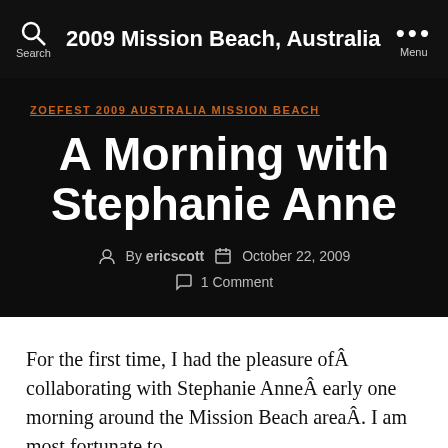2009 Mission Beach, Australia
ZOEFEST 2009 AUSTRALIA MISSION BEACH
A Morning with Stephanie Anne
By ericscott  October 22, 2009  1 Comment
For the first time, I had the pleasure ofÂ collaborating with Stephanie AnneÂ early one morning around the Mission Beach areaÂ. I am most fortunate to...